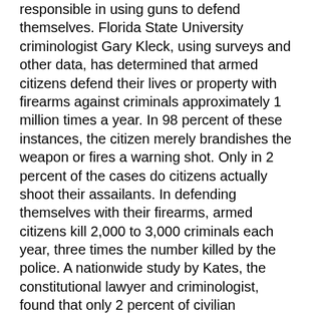responsible in using guns to defend themselves. Florida State University criminologist Gary Kleck, using surveys and other data, has determined that armed citizens defend their lives or property with firearms against criminals approximately 1 million times a year. In 98 percent of these instances, the citizen merely brandishes the weapon or fires a warning shot. Only in 2 percent of the cases do citizens actually shoot their assailants. In defending themselves with their firearms, armed citizens kill 2,000 to 3,000 criminals each year, three times the number killed by the police. A nationwide study by Kates, the constitutional lawyer and criminologist, found that only 2 percent of civilian shootings involved an innocent person mistakenly identified as a criminal. The "error rate" for the police, however, was 11 percent, over five times as high.
It is simply not possible to square the numbers above and the experience of Florida with the notions that honest, law-abiding gun owners are borderline psychopaths itching for an excuse to shoot someone, vigilantes eager to seek out and summarily execute the lawless, or incompetent fools incapable of determining when it is proper to use lethal force in defense of their lives. Nor upon reflection should these